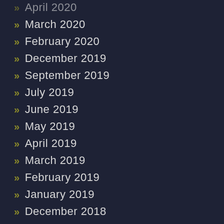April 2020
March 2020
February 2020
December 2019
September 2019
July 2019
June 2019
May 2019
April 2019
March 2019
February 2019
January 2019
December 2018
November 2018
October 2018